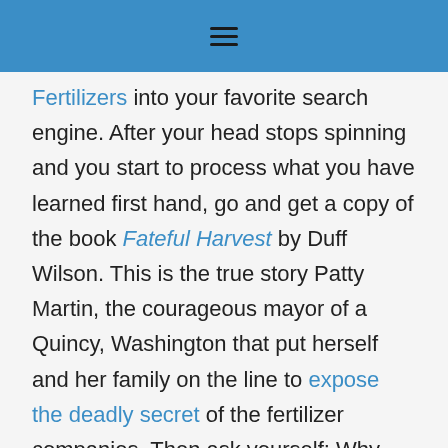≡
Fertilizers into your favorite search engine. After your head stops spinning and you start to process what you have learned first hand, go and get a copy of the book Fateful Harvest by Duff Wilson. This is the true story Patty Martin, the courageous mayor of a Quincy, Washington that put herself and her family on the line to expose the deadly secret of the fertilizer companies. Then ask yourself: Why haven't I ever heard of this?
Do you need any further reason to start your